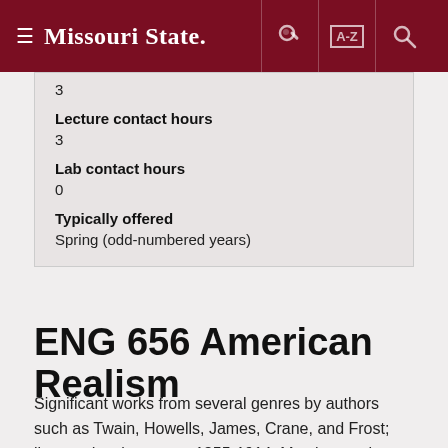Missouri State
3
Lecture contact hours
3
Lab contact hours
0
Typically offered
Spring (odd-numbered years)
ENG 656 American Realism
Significant works from several genres by authors such as Twain, Howells, James, Crane, and Frost; literary developments, 1855-1914. May be taught concurrently